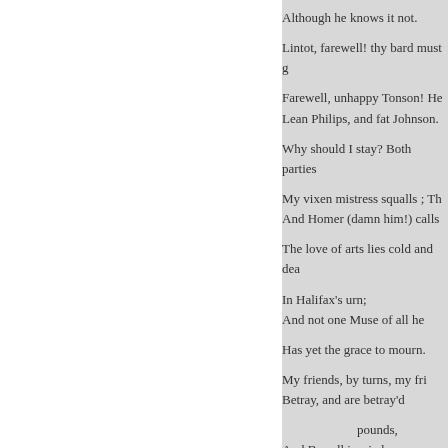Although he knows it not.

Lintot, farewell! thy bard must g

    Farewell, unhappy Tonson! He
    Lean Philips, and fat Johnson.

Why should I stay? Both parties

    My vixen mistress squalls ; Th
    And Homer (damn him!) calls

The love of arts lies cold and dea

        In Halifax's urn;
        And not one Muse of all he

    Has yet the grace to mourn.

        My friends, by turns, my fri
        Betray, and are betray'd

            pounds,
        And B---- ll is a jade.